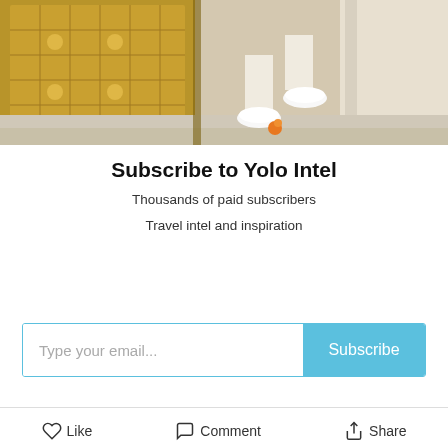[Figure (photo): Partial view of a person's legs and white sneakers standing at the entrance of an ornate golden door, likely a temple, with marble steps and a small orange flower on the ground.]
Subscribe to Yolo Intel
Thousands of paid subscribers
Travel intel and inspiration
Type your email...
Subscribe
Like  Comment  Share